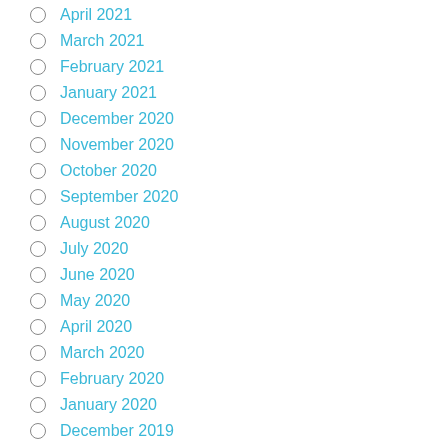April 2021
March 2021
February 2021
January 2021
December 2020
November 2020
October 2020
September 2020
August 2020
July 2020
June 2020
May 2020
April 2020
March 2020
February 2020
January 2020
December 2019
November 2019